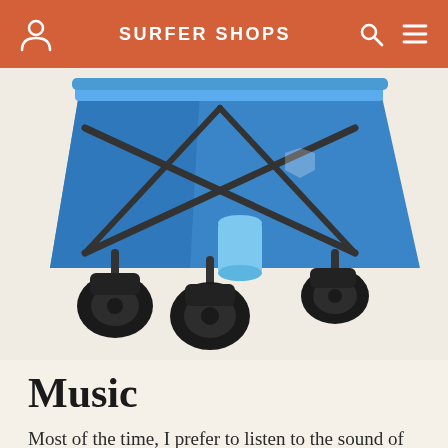SURFER SHOPS
[Figure (photo): Blue folding beach wagon/cart with large black all-terrain wheels and a light blue cup holder attached to the frame]
Music
Most of the time, I prefer to listen to the sound of the waves as my music background on the beach. But for longer beach days, it's fun to get pumped up before a surf